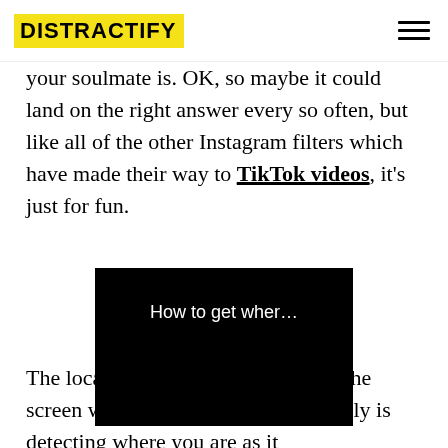DISTRACTIFY
your soulmate is. OK, so maybe it could land on the right answer every so often, but like all of the other Instagram filters which have made their way to TikTok videos, it's just for fun.
[Figure (screenshot): Black video thumbnail with white text reading 'How to get wher...']
The location button that pops up on the screen would have you believe it really is detecting where you are as it